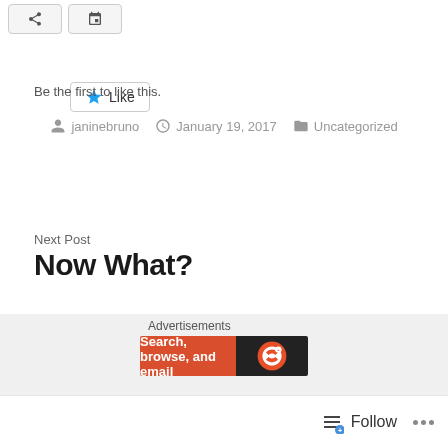[Figure (screenshot): Two share/social action buttons at top]
Like
Be the first to like this.
janinebruno   January 19, 2017   Uncategorized
Next Post
Now What?
Advertisements
Search, browse, and email
Follow